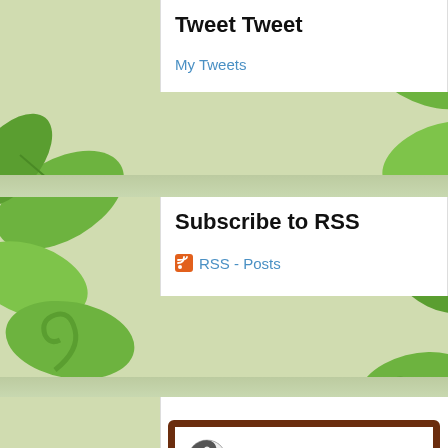Tweet Tweet
My Tweets
Subscribe to RSS
RSS - Posts
[Figure (other): Goodreads widget showing CrunchyMetroMom profile with yin-yang avatar, book rating for Managing Expectations: A Memoir in Essays by Minnie Driver, read in August 2022]
CrunchyMetroMom
August 24
rated a book really liked it Managing Expectations: A Memoir in Essays by Minnie Driver
read in August, 2022
goodreads